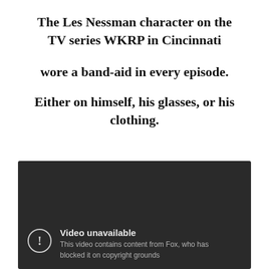The Les Nessman character on the TV series WKRP in Cincinnati
wore a band-aid in every episode.
Either on himself, his glasses, or his clothing.
[Figure (screenshot): Video unavailable error screen with dark background showing a circle with exclamation mark icon, text 'Video unavailable' and 'This video contains content from Fox, who has blocked it on copyright grounds']